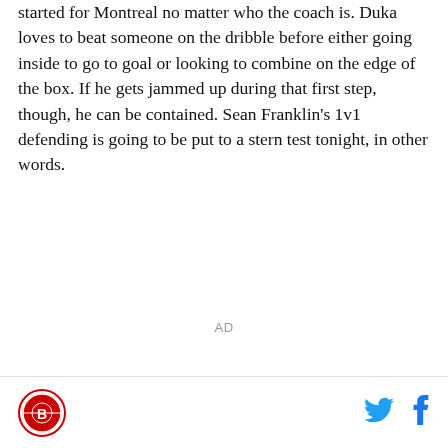started for Montreal no matter who the coach is. Duka loves to beat someone on the dribble before either going inside to go to goal or looking to combine on the edge of the box. If he gets jammed up during that first step, though, he can be contained. Sean Franklin's 1v1 defending is going to be put to a stern test tonight, in other words.
AD
[Figure (logo): Circular red and black sports logo in the bottom left footer area]